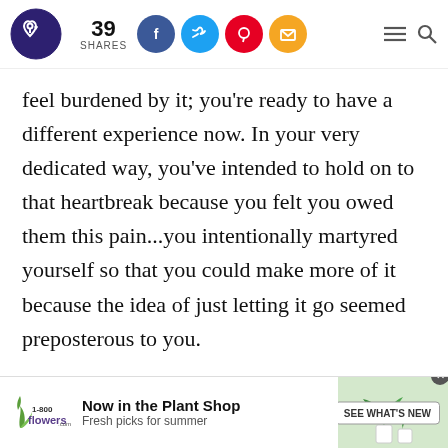39 SHARES [social icons: Facebook, Twitter, Pinterest, Email] [menu icon] [search icon]
feel burdened by it; you're ready to have a different experience now. In your very dedicated way, you've intended to hold on to that heartbreak because you felt you owed them this pain...you intentionally martyred yourself so that you could make more of it because the idea of just letting it go seemed preposterous to you.

The Moon in Gemini gives you an insight here:
[Figure (infographic): Advertisement banner for 1-800-flowers.com: 'Now in the Plant Shop, Fresh picks for summer' with image of a plant and a 'SEE WHAT'S NEW' button]